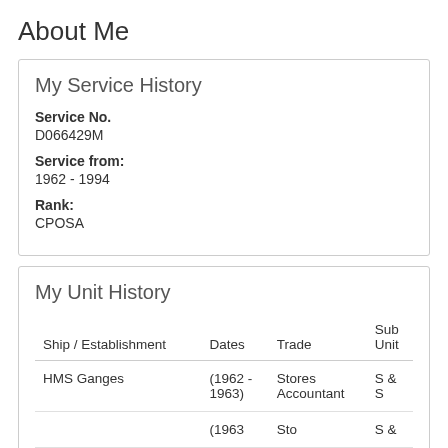About Me
My Service History
Service No.
D066429M
Service from:
1962 - 1994
Rank:
CPOSA
My Unit History
| Ship / Establishment | Dates | Trade | Sub Unit |
| --- | --- | --- | --- |
| HMS Ganges | (1962 - 1963) | Stores Accountant | S & S |
|  | (1963... | Sto... | S &... |